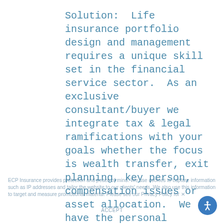Solution:  Life insurance portfolio design and management requires a unique skill set in the financial service sector.  As an exclusive consultant/buyer we integrate tax & legal ramifications with your goals whether the focus is wealth transfer, exit planning, key person, compensation issues or asset allocation.  We have the personal relationships & expertise as well as the carrier relationships to enhance your experience and to provide greater outcomes from a financial and medical underwriting position.  We represent you and do not work for a particular insurance carrier.  We are your advocate plain and simple.  Additionally, we work with several reinsurance carriers.
ECP Insurance provides protection and peace of mind. We use cookies to capture information such as IP addresses and tailor the website to our clients' needs. We also use this information to target and measure promotional material. Please see our Privacy Policy for
ACCEPT